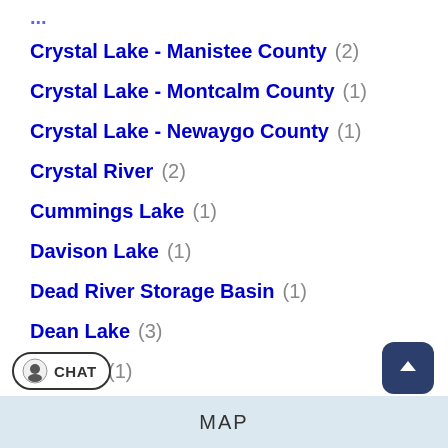Crystal Lake - Manistee County (2)
Crystal Lake - Montcalm County (1)
Crystal Lake - Newaygo County (1)
Crystal River (2)
Cummings Lake (1)
Davison Lake (1)
Dead River Storage Basin (1)
Dean Lake (3)
...er Lake (1)
MAP